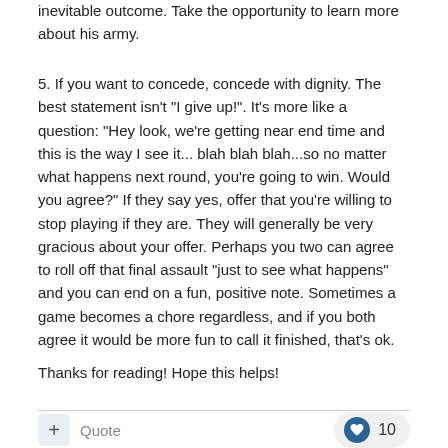inevitable outcome.  Take the opportunity to learn more about his army.
5. If you want to concede, concede with dignity.  The best statement isn't "I give up!".  It's more like a question:  "Hey look, we're getting near end time and this is the way I see it... blah blah blah...so no matter what happens next round, you're going to win.  Would you agree?"   If they say yes, offer that you're willing to stop playing if they are.  They will generally be very gracious about your offer.  Perhaps you two can agree to roll off that final assault "just to see what happens" and you can end on a fun, positive note.  Sometimes a game becomes a chore regardless, and if you both agree it would be more fun to call it finished, that's ok.
Thanks for reading!  Hope this helps!